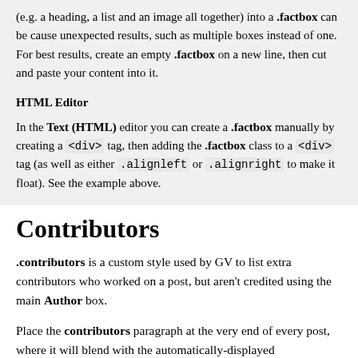(e.g. a heading, a list and an image all together) into a .factbox can be cause unexpected results, such as multiple boxes instead of one. For best results, create an empty .factbox on a new line, then cut and paste your content into it.
HTML Editor
In the Text (HTML) editor you can create a .factbox manually by creating a <div> tag, then adding the .factbox class to a <div> tag (as well as either .alignleft or .alignright to make it float). See the example above.
Contributors
.contributors is a custom style used by GV to list extra contributors who worked on a post, but aren't credited using the main Author box.
Place the contributors paragraph at the very end of every post, where it will blend with the automatically-displayed